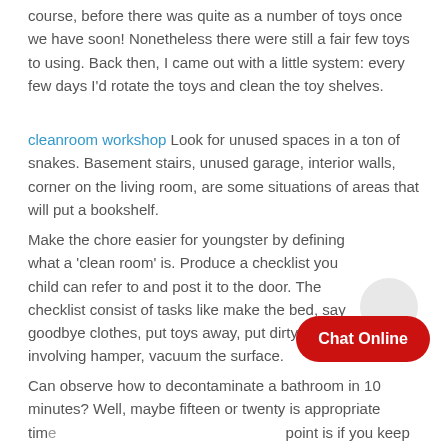course, before there was quite as a number of toys once we have soon! Nonetheless there were still a fair few toys to using. Back then, I came out with a little system: every few days I'd rotate the toys and clean the toy shelves.
cleanroom workshop Look for unused spaces in a ton of snakes. Basement stairs, unused garage, interior walls, corner on the living room, are some situations of areas that will put a bookshelf.
Make the chore easier for youngster by defining what a 'clean room' is. Produce a checklist you child can refer to and post it to the door. The checklist consist of tasks like make the bed, say goodbye clothes, put toys away, put dirty clothes, involving hamper, vacuum the surface.
Can observe how to decontaminate a bathroom in 10 minutes? Well, maybe fifteen or twenty is appropriate tim... point is if you keep area clean, wipe things down (counter tops,